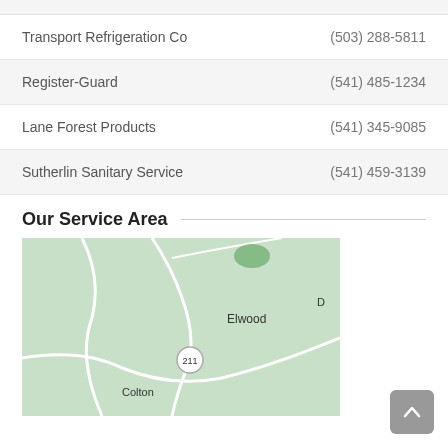| Name | Phone |
| --- | --- |
| Transport Refrigeration Co | (503) 288-5811 |
| Register-Guard | (541) 485-1234 |
| Lane Forest Products | (541) 345-9085 |
| Sutherlin Sanitary Service | (541) 459-3139 |
Our Service Area
[Figure (map): Map showing service area with locations: Elwood, Colton, and route 211 marked on a green terrain background.]